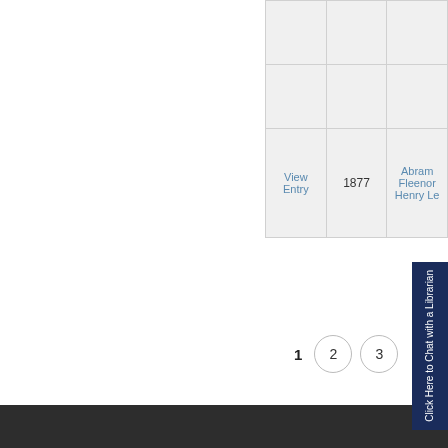|  |  |  |
| --- | --- | --- |
|  |  |  |
|  |  |  |
| View Entry | 1877 | Abram Fleenor Henry Le... |
1  2  3
Click Here to Chat with a Librarian